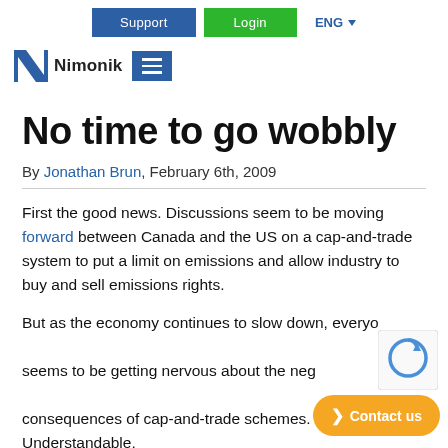Support | Login | ENG
[Figure (logo): Nimonik logo with stylized N icon and hamburger menu button]
No time to go wobbly
By Jonathan Brun, February 6th, 2009
First the good news. Discussions seem to be moving forward between Canada and the US on a cap-and-trade system to put a limit on emissions and allow industry to buy and sell emissions rights.
But as the economy continues to slow down, everyone seems to be getting nervous about the negative consequences of cap-and-trade schemes. Understandable,